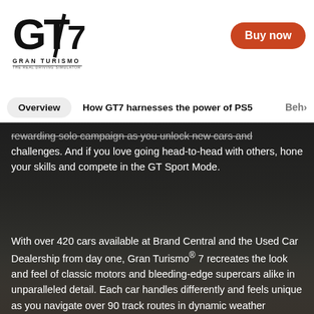[Figure (logo): Gran Turismo 7 logo — stylized GT7 emblem with 'GRAN TURISMO 7' text]
Buy now
Overview  |  How GT7 harnesses the power of PS5  |  Beh›
rewarding solo campaign as you unlock new cars and challenges. And if you love going head-to-head with others, hone your skills and compete in the GT Sport Mode.
With over 420 cars available at Brand Central and the Used Car Dealership from day one, Gran Turismo® 7 recreates the look and feel of classic motors and bleeding-edge supercars alike in unparalleled detail. Each car handles differently and feels unique as you navigate over 90 track routes in dynamic weather conditions, including classic courses from GT history.